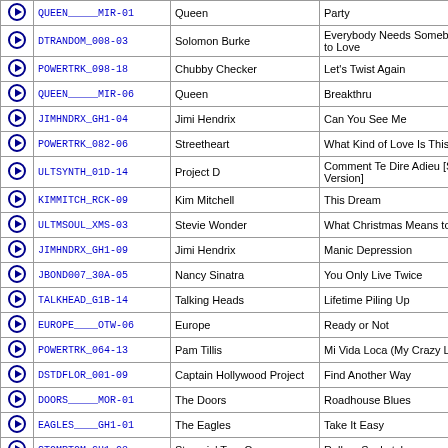|  | Code | Artist | Song |
| --- | --- | --- | --- |
| ▶ | QUEEN_____MIR-01 | Queen | Party |
| ▶ | DTRANDOM_008-03 | Solomon Burke | Everybody Needs Somebody to Love |
| ▶ | POWERTRK_098-18 | Chubby Checker | Let's Twist Again |
| ▶ | QUEEN_____MIR-06 | Queen | Breakthru |
| ▶ | JIMHNDRX_GH1-04 | Jimi Hendrix | Can You See Me |
| ▶ | POWERTRK_082-06 | Streetheart | What Kind of Love Is This |
| ▶ | ULTSYNTH_01D-14 | Project D | Comment Te Dire Adieu [Synth Version] |
| ▶ | KIMMITCH_RCK-09 | Kim Mitchell | This Dream |
| ▶ | ULTMSOUL_XMS-03 | Stevie Wonder | What Christmas Means to Me |
| ▶ | JIMHNDRX_GH1-09 | Jimi Hendrix | Manic Depression |
| ▶ | JBOND007_30A-05 | Nancy Sinatra | You Only Live Twice |
| ▶ | TALKHEAD_G1B-14 | Talking Heads | Lifetime Piling Up |
| ▶ | EUROPE____OTW-06 | Europe | Ready or Not |
| ▶ | POWERTRK_064-13 | Pam Tillis | Mi Vida Loca (My Crazy Life) |
| ▶ | DSTDFLOR_001-09 | Captain Hollywood Project | Find Another Way |
| ▶ | DOORS_____MOR-01 | The Doors | Roadhouse Blues |
| ▶ | EAGLES____GH1-01 | The Eagles | Take It Easy |
| ▶ | STOMPTOM_GH1-03 | Stompin' Tom Connors | Roll on Saskatchewan |
| ▶ | POWERTRK_105-02 | Skid Row | 18 And Life |
| ▶ | SPINALTP_STD-08 | Spinal Tap | Sex Farm |